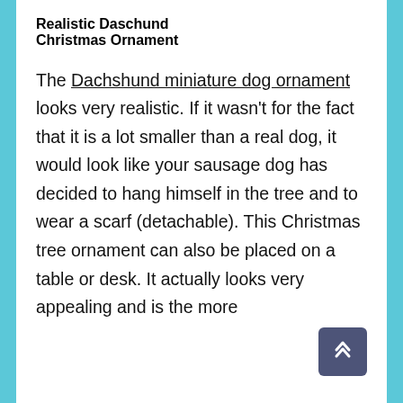Realistic Daschund Christmas Ornament
The Dachshund miniature dog ornament looks very realistic. If it wasn't for the fact that it is a lot smaller than a real dog, it would look like your sausage dog has decided to hang himself in the tree and to wear a scarf (detachable). This Christmas tree ornament can also be placed on a table or desk. It actually looks very appealing and is the more